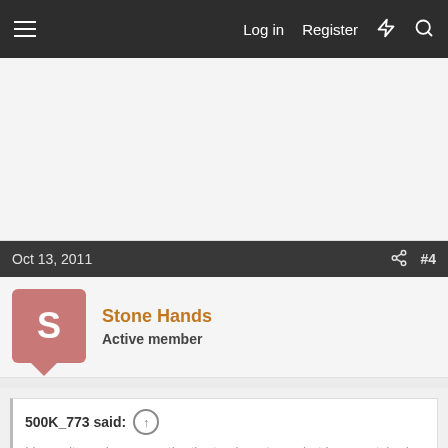Log in  Register
Oct 13, 2011  #4
Stone Hands
Active member
500K_773 said:  ↑  I haven't used any over the tire track systems, but have watched with and without them. For one, the 863 with steel tracks really had a tough time cutting through some relatively packed dirt. (The operator